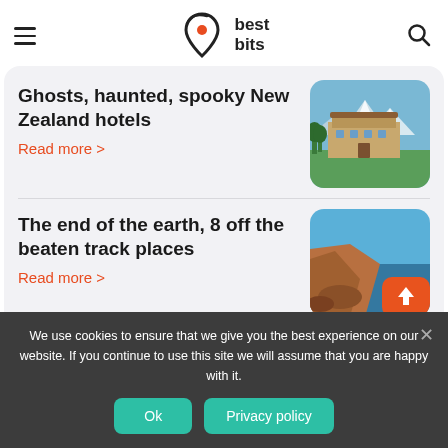[Figure (logo): Best Bits logo — stylized location pin with red dot and swoosh arc, beside bold text 'best bits']
Ghosts, haunted, spooky New Zealand hotels
Read more >
[Figure (photo): Photo of a historic hotel building with green lawn and snow-capped mountains in background]
The end of the earth, 8 off the beaten track places
Read more >
[Figure (photo): Photo of rocky coastal cliffs with blue water and sky, orange element visible]
We use cookies to ensure that we give you the best experience on our website. If you continue to use this site we will assume that you are happy with it.